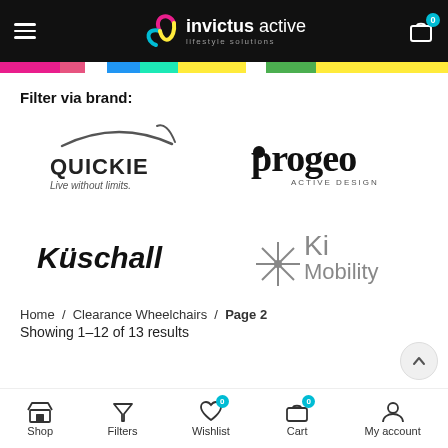invictus active lifestyle solutions
Filter via brand:
[Figure (logo): Quickie logo - Live without limits.]
[Figure (logo): Progeo Active Design logo]
[Figure (logo): Kuschall logo]
[Figure (logo): Ki Mobility logo]
Home / Clearance Wheelchairs / Page 2
Showing 1–12 of 13 results
Shop  Filters  Wishlist 0  Cart 0  My account